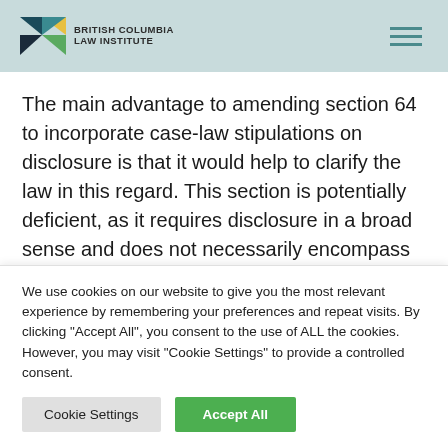British Columbia Law Institute
The main advantage to amending section 64 to incorporate case-law stipulations on disclosure is that it would help to clarify the law in this regard. This section is potentially deficient, as it requires disclosure in a broad sense and does not necessarily encompass the full scope of what the courts have mandated that a director must disclose in child protection matters.
We use cookies on our website to give you the most relevant experience by remembering your preferences and repeat visits. By clicking "Accept All", you consent to the use of ALL the cookies. However, you may visit "Cookie Settings" to provide a controlled consent.